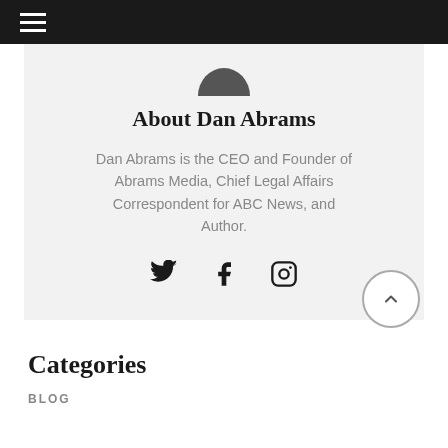≡ (navigation menu)
About Dan Abrams
Dan Abrams is the CEO and Founder of Abrams Media, Chief Legal Affairs Correspondent for ABC News, and Author.
[Figure (illustration): Social media icons: Twitter bird, Facebook f, and Instagram camera]
Categories
BLOG